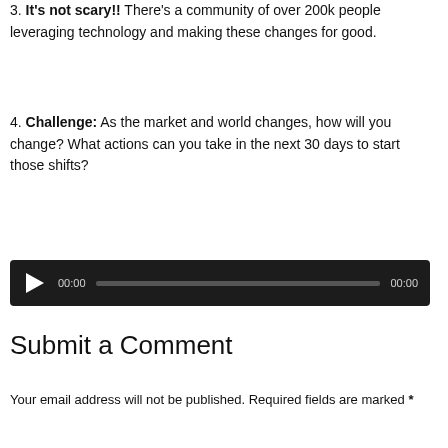3. It's not scary!! There's a community of over 200k people leveraging technology and making these changes for good.
4. Challenge: As the market and world changes, how will you change? What actions can you take in the next 30 days to start those shifts?
[Figure (other): Audio player widget with play button, time counter showing 00:00, a progress bar, and end time 00:00 on a dark background.]
Submit a Comment
Your email address will not be published. Required fields are marked *